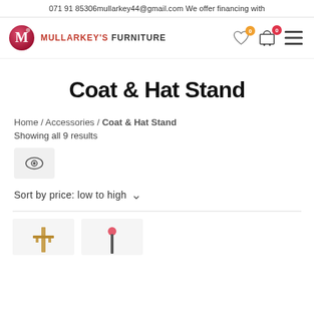071 91 85306mullarkey44@gmail.com We offer financing with
[Figure (logo): Mullarkey's Furniture logo with stylized M in red circle and text MULLARKEY'S FURNITURE]
Coat & Hat Stand
Home / Accessories / Coat & Hat Stand
Showing all 9 results
Sort by price: low to high